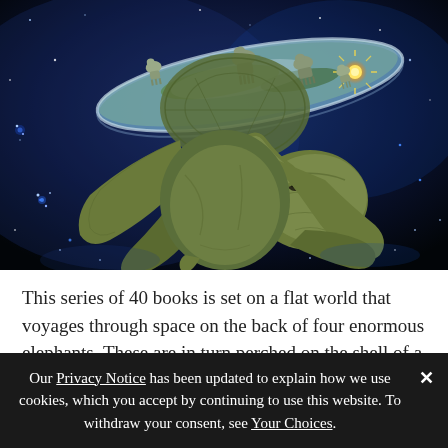[Figure (illustration): Fantasy illustration of the Discworld: a giant space turtle swimming through a star-filled cosmos, carrying four enormous elephants on its shell, which in turn support a flat disc-shaped world. A bright star/sun is visible on the disc. The scene is painted in deep blues and greens against a dark space background.]
This series of 40 books is set on a flat world that voyages through space on the back of four enormous elephants. These are in turn perched on the shell of a
Our Privacy Notice has been updated to explain how we use cookies, which you accept by continuing to use this website. To withdraw your consent, see Your Choices.